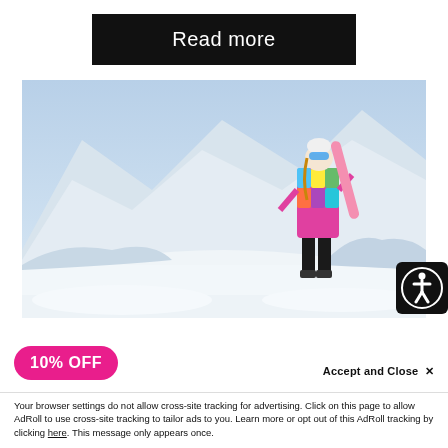Read more
[Figure (photo): Woman in colorful ski jacket standing on snowy mountain slope holding a snowboard, with snow-capped mountain peaks in the background and clear sky]
[Figure (logo): Accessibility icon — white person in circle on black background]
10% OFF
Accept and Close X
Your browser settings do not allow cross-site tracking for advertising. Click on this page to allow AdRoll to use cross-site tracking to tailor ads to you. Learn more or opt out of this AdRoll tracking by clicking here. This message only appears once.